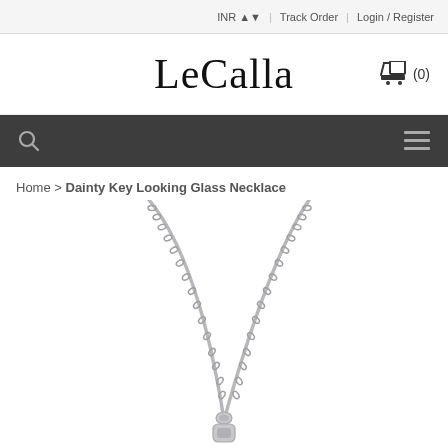INR | Track Order | Login / Register
LeCalla
(0)
🔍  ☰
Home > Dainty Key Looking Glass Necklace
[Figure (photo): Product photo of a silver necklace with a chain forming a V-shape and a small pendant at the bottom center, shown against a white background.]